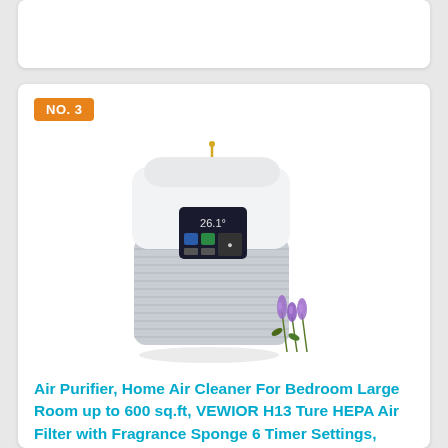[Figure (photo): Top partial card area, partially visible from previous section]
NO. 3
[Figure (photo): Air purifier product photo - white cylindrical air purifier with gray filter grills, digital display panel, and lavender flowers beside it]
Air Purifier, Home Air Cleaner For Bedroom Large Room up to 600 sq.ft, VEWIOR H13 Ture HEPA Air Filter with Fragrance Sponge 6 Timer Settings, Quiet Air Purifiers for Pets Dander Odor Dust Smoke Pollen